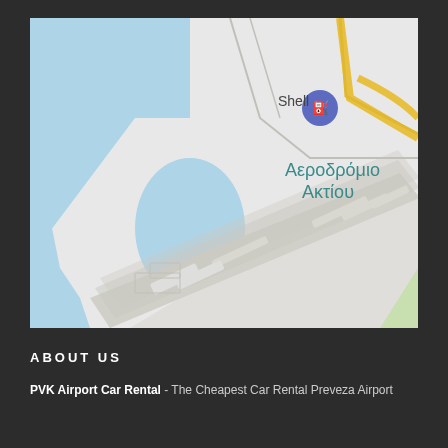[Figure (map): Google Maps screenshot showing Αεροδρόμιο Ακτίου (Aktion Airport / PVK) with runways, water bodies, and a Shell fuel station marker visible. The map shows the airport peninsula with blue water areas, gray runway areas, and a yellow road. A blue Shell gas station pin is marked in the upper portion.]
ABOUT US
PVK Airport Car Rental - The Cheapest Car Rental Preveza Airport